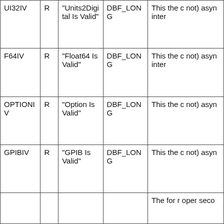| UI32IV | R | "Units2Digital Is Valid" | DBF_LONG | This the c not) asyn inter |
| F64IV | R | "Float64 Is Valid" | DBF_LONG | This the c not) asyn inter |
| OPTIONIV | R | "Option Is Valid" | DBF_LONG | This the c not) asyn |
| GPIBIV | R | "GPIB Is Valid" | DBF_LONG | This the c not) asyn |
|  |  |  |  | The for r oper seco |